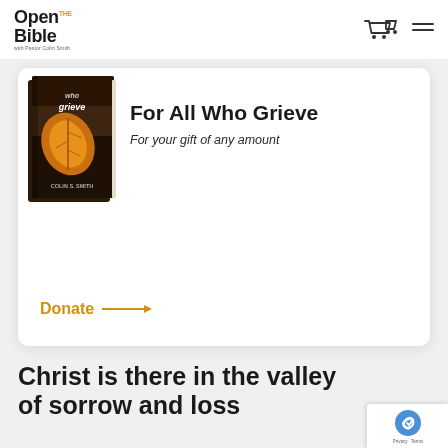[Figure (logo): Open the Bible logo with 'with Pastor Colin Smith' tagline]
[Figure (illustration): Book cover for 'For All Who Grieve' by Colin S. Smith, dark background with autumn leaf]
For All Who Grieve
For your gift of any amount
Donate →
Christ is there in the valley of sorrow and loss